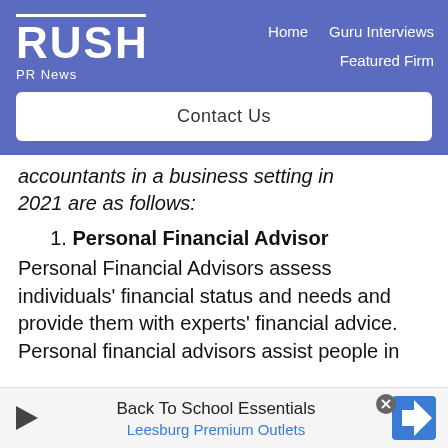RUSH PR News — Home | Guru Interviews | Featured Firm | Contact Us
accountants in a business setting in 2021 are as follows:
1. Personal Financial Advisor
Personal Financial Advisors assess individuals' financial status and needs and provide them with experts' financial advice. Personal financial advisors assist people in
[Figure (other): Advertisement banner: Back To School Essentials - Leesburg Premium Outlets, with play icon and navigation arrow icon]